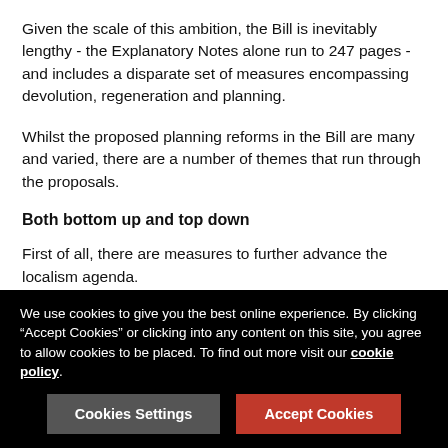Given the scale of this ambition, the Bill is inevitably lengthy - the Explanatory Notes alone run to 247 pages - and includes a disparate set of measures encompassing devolution, regeneration and planning.
Whilst the proposed planning reforms in the Bill are many and varied, there are a number of themes that run through the proposals.
Both bottom up and top down
First of all, there are measures to further advance the localism agenda.
Neighbourhood planning is reengineered in the ‘levelled up’ system. The draft legislation includes proposals for a ‘neighbourhood priorities statement’ intended to provide communities with a simpler and more accessible way to set
We use cookies to give you the best online experience. By clicking “Accept Cookies” or clicking into any content on this site, you agree to allow cookies to be placed. To find out more visit our cookie policy.